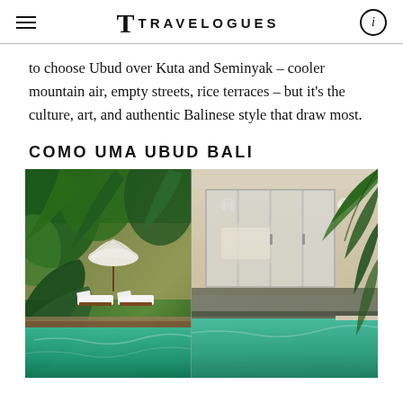TRAVELOGUES
to choose Ubud over Kuta and Seminyak – cooler mountain air, empty streets, rice terraces – but it's the culture, art, and authentic Balinese style that draw most.
COMO UMA UBUD BALI
[Figure (photo): Hotel COMO Uma Ubud Bali: composite photo showing lush tropical garden with white sun loungers, umbrella, and pool on the left; modern white villa with large glass sliding doors on the right; foreground shows turquoise pool water.]